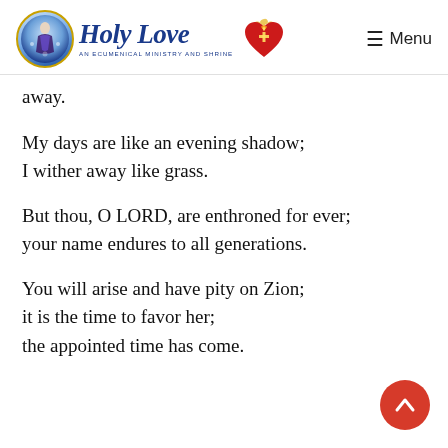Holy Love — An Ecumenical Ministry and Shrine | Menu
away.
My days are like an evening shadow;
I wither away like grass.
But thou, O LORD, are enthroned for ever;
your name endures to all generations.
You will arise and have pity on Zion;
it is the time to favor her;
the appointed time has come.